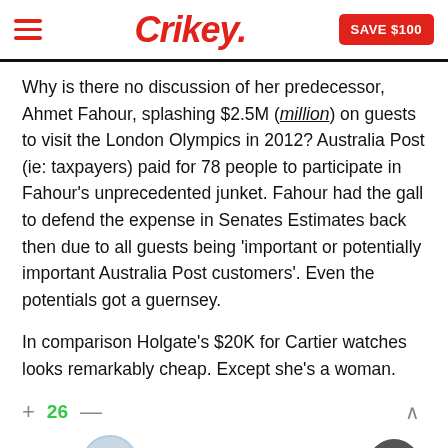Crikey. SAVE $100
Why is there no discussion of her predecessor, Ahmet Fahour, splashing $2.5M (million) on guests to visit the London Olympics in 2012? Australia Post (ie: taxpayers) paid for 78 people to participate in Fahour's unprecedented junket. Fahour had the gall to defend the expense in Senates Estimates back then due to all guests being 'important or potentially important Australia Post customers'. Even the potentials got a guernsey.
In comparison Holgate's $20K for Cartier watches looks remarkably cheap. Except she's a woman.